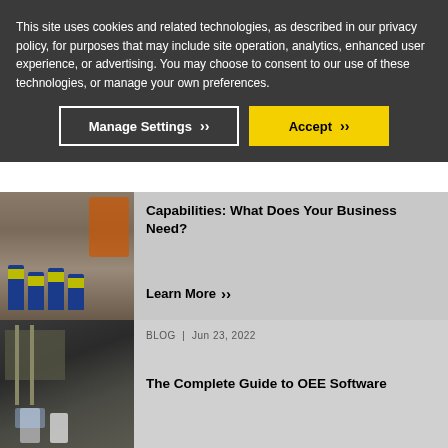This site uses cookies and related technologies, as described in our privacy policy, for purposes that may include site operation, analytics, enhanced user experience, or advertising. You may choose to consent to our use of these technologies, or manage your own preferences.
Manage Settings
Accept
[Figure (photo): Workers in yellow safety vests in an industrial/manufacturing facility]
Capabilities: What Does Your Business Need?
Learn More »»
[Figure (photo): Two workers at computer screens in an industrial facility]
BLOG | Jun 23, 2022
The Complete Guide to OEE Software